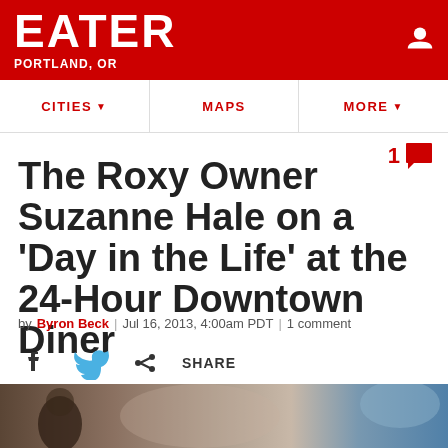EATER PORTLAND, OR
CITIES  MAPS  MORE
1 comment
The Roxy Owner Suzanne Hale on a 'Day in the Life' at the 24-Hour Downtown Diner
by Byron Beck | Jul 16, 2013, 4:00am PDT | 1 comment
SHARE
[Figure (photo): Bottom strip showing partial photograph of a person in a diner setting]